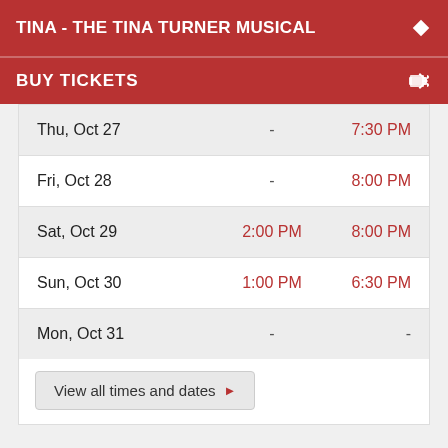TINA - THE TINA TURNER MUSICAL
BUY TICKETS
| Date | Time 1 | Time 2 |
| --- | --- | --- |
| Thu, Oct 27 | - | 7:30 PM |
| Fri, Oct 28 | - | 8:00 PM |
| Sat, Oct 29 | 2:00 PM | 8:00 PM |
| Sun, Oct 30 | 1:00 PM | 6:30 PM |
| Mon, Oct 31 | - | - |
View all times and dates ▶
You know the drill, websites need cookies to make them work. Details of how we do it here.
Got it!